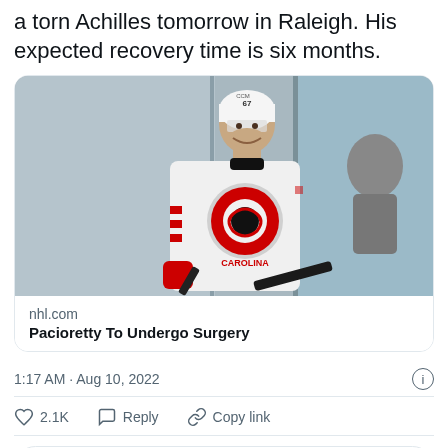a torn Achilles tomorrow in Raleigh. His expected recovery time is six months.
[Figure (photo): Hockey player in white Carolina Hurricanes jersey and helmet holding a stick, standing in front of boards at a rink]
nhl.com
Pacioretty To Undergo Surgery
1:17 AM · Aug 10, 2022
2.1K  Reply  Copy link
Read 463 replies